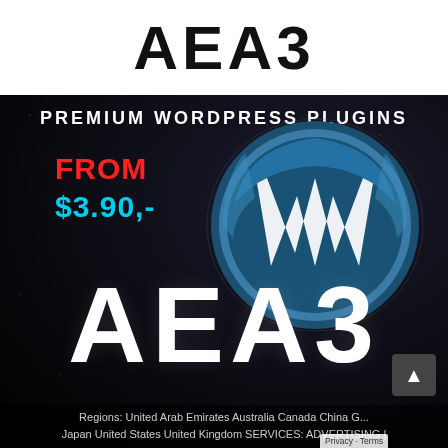[Figure (logo): AEА3 logo in bold black text on white background at top]
PREMIUM WORDPRESS PLUGINS
FROM
$3.90,-
[Figure (logo): WordPress blue circle logo with W symbol]
[Figure (logo): Large AEА3 logo in white text on dark background]
Regions: United Arab Emirates Australia Canada China G... Japan United States United Kingdom SERVICES: ADVERTISING |